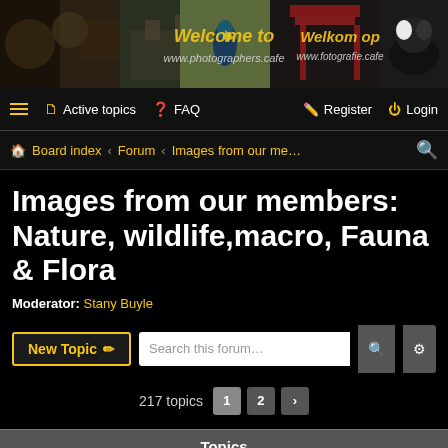[Figure (photo): Website banner with nature/wildlife photos showing a bird, forest ruins, Japanese gate and a dog, with text 'Welcome to www.photographers.cafe' and 'Welkom op www.fotografie.cafe']
≡  Active topics  FAQ  Register  Login
Board index › Forum › Images from our me…  🔍
Images from our members: Nature, wildlife,macro, Fauna & Flora
Moderator: Stany Buyle
New Topic  Search this forum…  217 topics  1  2  ›
Topics
Nectarians...
Last post by Stany Buyle « Sun 21 Aug 2022 17:56
Replies: 3
Kestrel with EOS R5 & RF 800 F11
Last post by CDW « Sun 19 Jun 2022 11:31
Replies: 1
PAarc de la Aa, Gravelines(France) - 2022
Last post by Stany Buyle « Sat 11 Jun 2022 20:08
Replies: 1